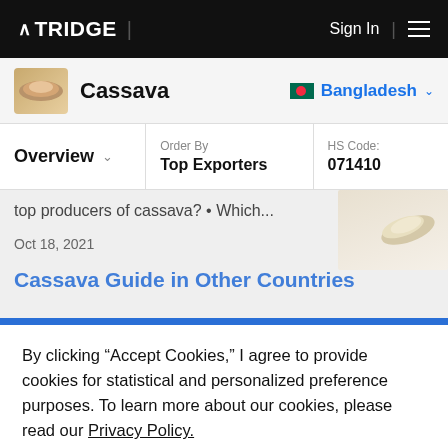TRIDGE | Sign In
Cassava — Bangladesh
Overview | Order By: Top Exporters | HS Code: 071410
top producers of cassava? • Which...
Oct 18, 2021
By clicking "Accept Cookies," I agree to provide cookies for statistical and personalized preference purposes. To learn more about our cookies, please read our Privacy Policy.
Accept Cookies
Fulfillment Solution | Supplier Directory | Intelligence & Data